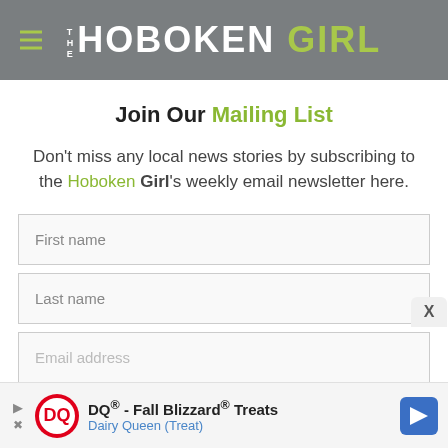THE HOBOKEN GIRL
Join Our Mailing List
Don't miss any local news stories by subscribing to the Hoboken Girl's weekly email newsletter here.
First name
Last name
Email address
DQ® - Fall Blizzard® Treats Dairy Queen (Treat)